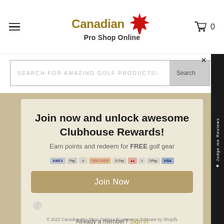[Figure (logo): Canadian Pro Shop Online logo with maple leaf in red and gold/dark text]
SEARCH FOR AMAZING GOLF PRODUCTS!
Join now and unlock awesome Clubhouse Rewards!
Earn points and redeem for FREE golf gear
Join Now
Already a member? Sign in
© 2022 Canadian Pro Shop Online • Ecommerce Software by Shopify